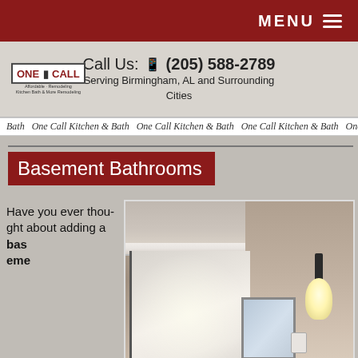MENU
ONE CALL | Call Us: (205) 588-2789 | Serving Birmingham, AL and Surrounding Cities
Bath One Call Kitchen & Bath One Call Kitchen & Bath One Call Kitchen & Bath One C
Basement Bathrooms
Have you ever thought about adding a basement eme...
[Figure (photo): Interior photo of a basement bathroom showing a frosted glass door, tan/beige walls with white crown molding, a wall-mounted light fixture, and white baseboard trim.]